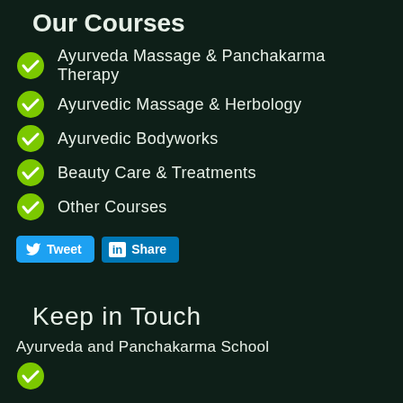Our Courses
Ayurveda Massage & Panchakarma Therapy
Ayurvedic Massage & Herbology
Ayurvedic Bodyworks
Beauty Care & Treatments
Other Courses
[Figure (other): Social sharing buttons: Tweet (Twitter) and Share (LinkedIn)]
Keep in Touch
Ayurveda and Panchakarma School